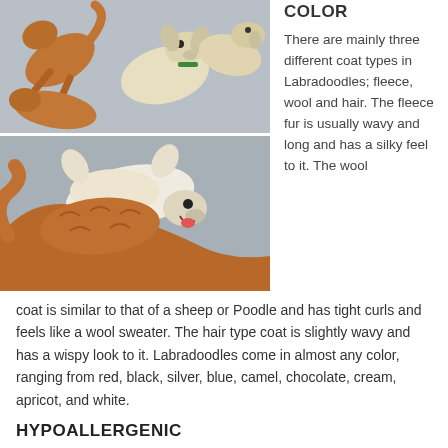[Figure (photo): Top photo: Four Labradoodle dogs viewed from above, some orange/red and one white, standing on a grey floor]
[Figure (photo): Bottom photo: Two Labradoodles playing on a grey floor, one white and one golden/red, lying on their backs]
COLOR
There are mainly three different coat types in Labradoodles; fleece, wool and hair. The fleece fur is usually wavy and long and has a silky feel to it. The wool coat is similar to that of a sheep or Poodle and has tight curls and feels like a wool sweater. The hair type coat is slightly wavy and has a wispy look to it. Labradoodles come in almost any color, ranging from red, black, silver, blue, camel, chocolate, cream, apricot, and white.
HYPOALLERGENIC
Poodles have a reputation for being hypoallergenic, meaning that